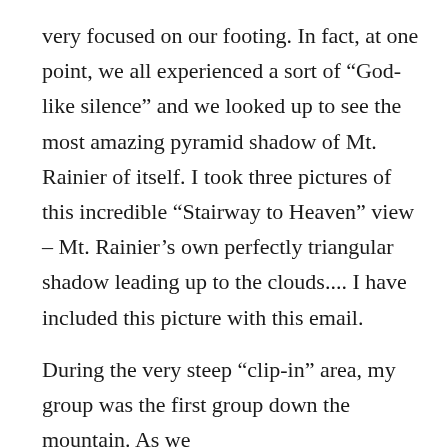very focused on our footing. In fact, at one point, we all experienced a sort of “God-like silence” and we looked up to see the most amazing pyramid shadow of Mt. Rainier of itself. I took three pictures of this incredible “Stairway to Heaven” view – Mt. Rainier’s own perfectly triangular shadow leading up to the clouds.... I have included this picture with this email.
During the very steep “clip-in” area, my group was the first group down the mountain. As we